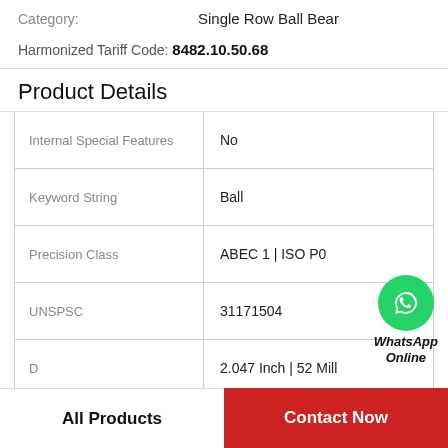Category: Single Row Ball Bear
Harmonized Tariff Code: 8482.10.50.68
Product Details
| Attribute | Value |
| --- | --- |
| Internal Special Features | No |
| Keyword String | Ball |
| Precision Class | ABEC 1 | ISO P0 |
| UNSPSC | 31171504 |
| D | 2.047 Inch | 52 Mill |
[Figure (logo): WhatsApp Online badge with green phone icon circle and italic bold text 'WhatsApp Online']
All Products
Contact Now